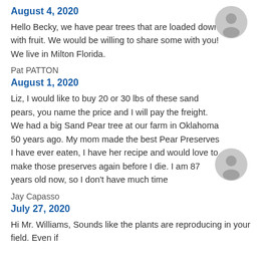August 4, 2020
Hello Becky, we have pear trees that are loaded down with fruit. We would be willing to share some with you! We live in Milton Florida.
Pat PATTON
August 1, 2020
Liz, I would like to buy 20 or 30 lbs of these sand pears, you name the price and I will pay the freight. We had a big Sand Pear tree at our farm in Oklahoma 50 years ago. My mom made the best Pear Preserves I have ever eaten, I have her recipe and would love to make those preserves again before I die. I am 87 years old now, so I don't have much time
Jay Capasso
July 27, 2020
Hi Mr. Williams, Sounds like the plants are reproducing in your field. Even if